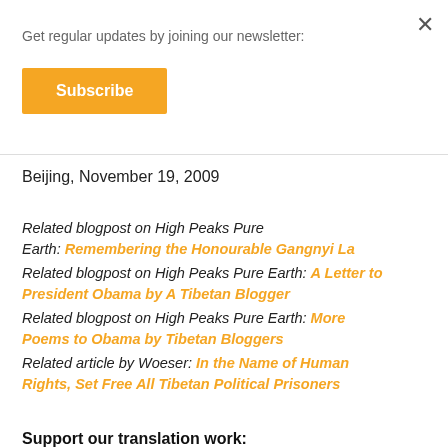Get regular updates by joining our newsletter:
Subscribe
Beijing, November 19, 2009
Related blogpost on High Peaks Pure Earth: Remembering the Honourable Gangnyi La
Related blogpost on High Peaks Pure Earth: A Letter to President Obama by A Tibetan Blogger
Related blogpost on High Peaks Pure Earth: More Poems to Obama by Tibetan Bloggers
Related article by Woeser: In the Name of Human Rights, Set Free All Tibetan Political Prisoners
Support our translation work: